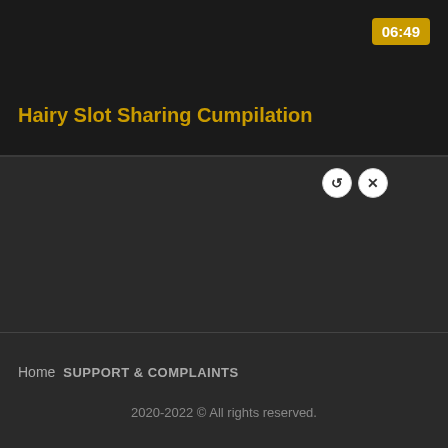[Figure (screenshot): Video thumbnail banner with dark background and golden timestamp badge showing 06:49 in top-right corner]
Hairy Slot Sharing Cumpilation
[Figure (other): Two small circular icon buttons (a reload/arrow icon and an X close icon) used as ad controls]
[Figure (other): Golden scroll-to-top button with upward triangle arrow in lower-right]
Home  SUPPORT & COMPLAINTS
2020-2022 © All rights reserved.